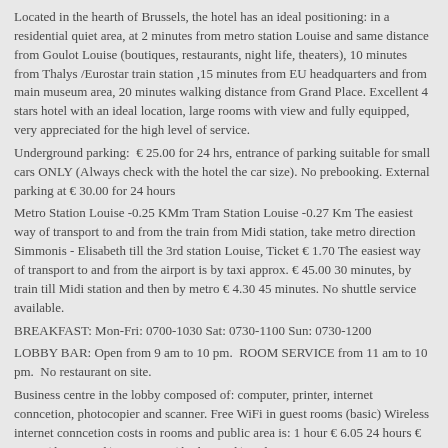Located in the hearth of Brussels, the hotel has an ideal positioning: in a residential quiet area, at 2 minutes from metro station Louise and same distance from Goulot Louise (boutiques, restaurants, night life, theaters), 10 minutes from Thalys /Eurostar train station ,15 minutes from EU headquarters and from main museum area, 20 minutes walking distance from Grand Place. Excellent 4 stars hotel with an ideal location, large rooms with view and fully equipped, very appreciated for the high level of service.
Underground parking:  € 25.00 for 24 hrs, entrance of parking suitable for small cars ONLY (Always check with the hotel the car size). No prebooking. External parking at € 30.00 for 24 hours
Metro Station Louise -0.25 KMm Tram Station Louise -0.27 Km The easiest way of transport to and from the train from Midi station, take metro direction Simmonis - Elisabeth till the 3rd station Louise, Ticket € 1.70 The easiest way of transport to and from the airport is by taxi approx. € 45.00 30 minutes, by train till Midi station and then by metro € 4.30 45 minutes. No shuttle service available.
BREAKFAST: Mon-Fri: 0700-1030 Sat: 0730-1100 Sun: 0730-1200
LOBBY BAR: Open from 9 am to 10 pm.  ROOM SERVICE from 11 am to 10 pm.  No restaurant on site.
Business centre in the lobby composed of: computer, printer, internet conncetion, photocopier and scanner. Free WiFi in guest rooms (basic) Wireless internet conncetion costs in rooms and public area is: 1 hour € 6.05 24 hours € 10.90 ( low speed ) or € 18.15 ( high speed ), 7 days € 72.60.
FACILITIES
Parking - Pets allowed - Room service - Bar - 24-hour front desk - Non-smoking rooms - Safety deposit box - Lift/elevator - Breakfast buffet - Allergy-free room -